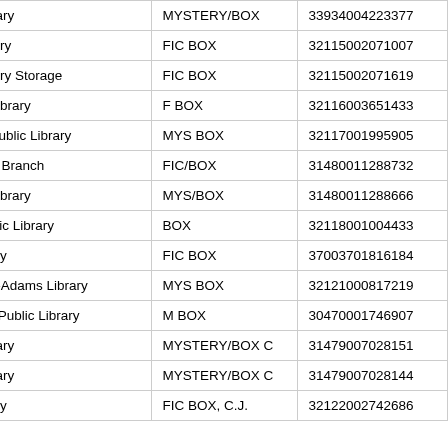| Library | Call Number | Barcode |
| --- | --- | --- |
| ...blic Library | MYSTERY/BOX | 33934004223377 |
| ...wn Library | FIC BOX | 32115002071007 |
| ...wn Library Storage | FIC BOX | 32115002071619 |
| ...Public Library | F BOX | 32116003651433 |
| ...eason Public Library | MYS BOX | 32117001995905 |
| ...MacKay Branch | FIC/BOX | 31480011288732 |
| ...Public Library | MYS/BOX | 31480011288666 |
| ...ree Public Library | BOX | 32118001004433 |
| ...lic Library | FIC BOX | 37003701816184 |
| ...Langley-Adams Library | MYS BOX | 32121000817219 |
| ...tenham Public Library | M BOX | 30470001746907 |
| ...blic Library | MYSTERY/BOX C | 31479007028151 |
| ...blic Library | MYSTERY/BOX C | 31479007028144 |
| ...lic Library | FIC BOX, C.J. | 32122002742686 |